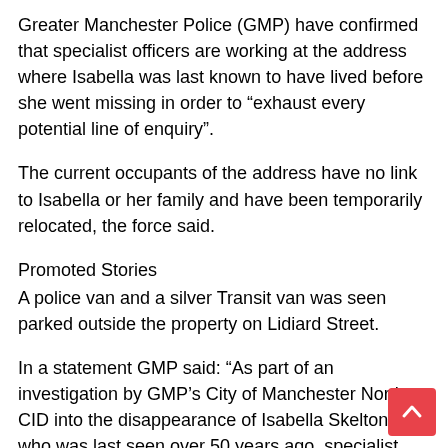Greater Manchester Police (GMP) have confirmed that specialist officers are working at the address where Isabella was last known to have lived before she went missing in order to “exhaust every potential line of enquiry”.
The current occupants of the address have no link to Isabella or her family and have been temporarily relocated, the force said.
Promoted Stories
A police van and a silver Transit van was seen parked outside the property on Lidiard Street.
In a statement GMP said: “As part of an investigation by GMP’s City of Manchester North CID into the disappearance of Isabella Skelton, who was last seen over 50 years ago, specialist officers are working at an address in #Crumpsall as part of their enquiries.